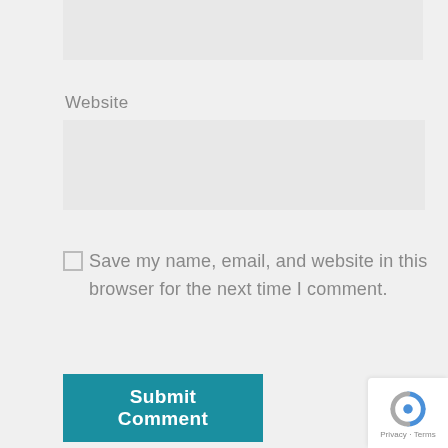[Figure (screenshot): Input field (top, partially visible, gray background)]
Website
[Figure (screenshot): Website input field (gray background, empty)]
Save my name, email, and website in this browser for the next time I comment.
[Figure (screenshot): Submit Comment button (teal background, white text)]
Questo sito usa Akismet per ridurre lo spam. Scopri come i tuoi dati vengono
[Figure (logo): reCAPTCHA badge with Privacy and Terms text]